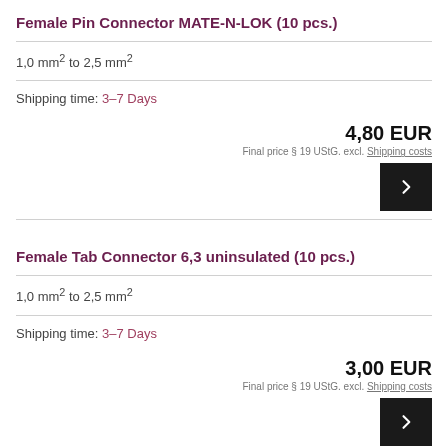Female Pin Connector MATE-N-LOK (10 pcs.)
1,0 mm² to 2,5 mm²
Shipping time: 3–7 Days
4,80 EUR
Final price § 19 UStG. excl. Shipping costs
Female Tab Connector 6,3 uninsulated (10 pcs.)
1,0 mm² to 2,5 mm²
Shipping time: 3–7 Days
3,00 EUR
Final price § 19 UStG. excl. Shipping costs